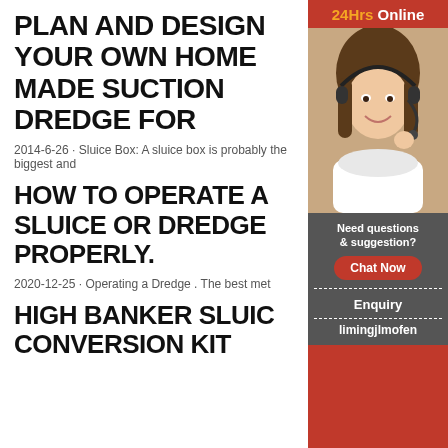PLAN AND DESIGN YOUR OWN HOME MADE SUCTION DREDGE FOR
2014-6-26 · Sluice Box: A sluice box is probably the biggest and
HOW TO OPERATE A SLUICE OR DREDGE PROPERLY.
2020-12-25 · Operating a Dredge . The best met
HIGH BANKER SLUICE CONVERSION KIT
[Figure (photo): Customer support representative woman wearing headset, smiling, with '24Hrs Online' label and chat/enquiry sidebar buttons]
24Hrs Online
Need questions & suggestion?
Chat Now
Enquiry
limingjlmofen